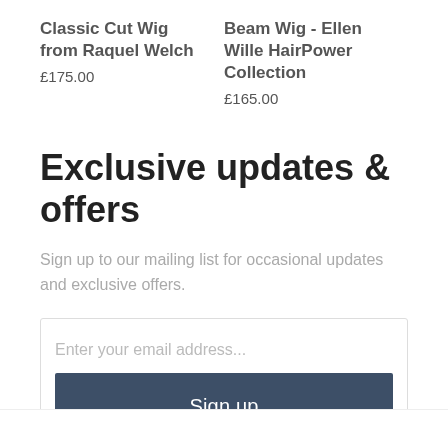Classic Cut Wig from Raquel Welch
£175.00
Beam Wig - Ellen Wille HairPower Collection
£165.00
Exclusive updates & offers
Sign up to our mailing list for occasional updates and exclusive offers.
Enter your email address...
Sign up